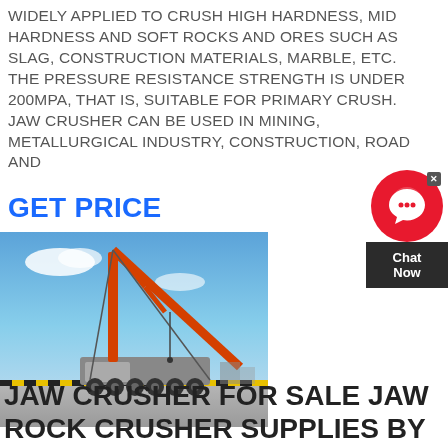WIDELY APPLIED TO CRUSH HIGH HARDNESS, MID HARDNESS AND SOFT ROCKS AND ORES SUCH AS SLAG, CONSTRUCTION MATERIALS, MARBLE, ETC. THE PRESSURE RESISTANCE STRENGTH IS UNDER 200MPA, THAT IS, SUITABLE FOR PRIMARY CRUSH. JAW CRUSHER CAN BE USED IN MINING, METALLURGICAL INDUSTRY, CONSTRUCTION, ROAD AND
GET PRICE
[Figure (photo): A large red crane on a concrete dock or port area under a blue sky with some clouds. The crane has a tall angled boom and is mounted on a wheeled vehicle/carrier.]
JAW CRUSHER FOR SALE JAW ROCK CRUSHER SUPPLIES BY